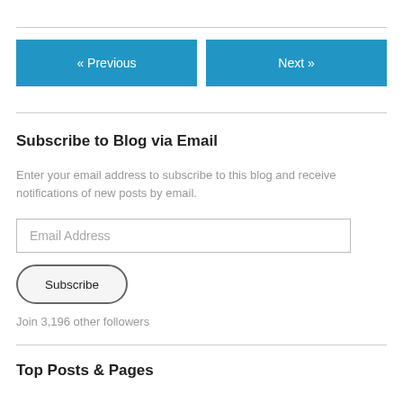« Previous
Next »
Subscribe to Blog via Email
Enter your email address to subscribe to this blog and receive notifications of new posts by email.
Email Address
Subscribe
Join 3,196 other followers
Top Posts & Pages